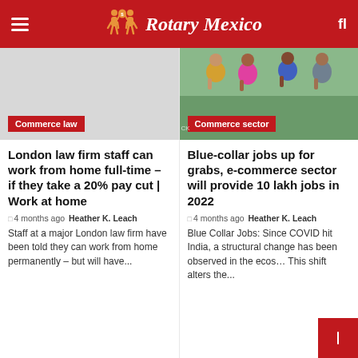Rotary Mexico
[Figure (photo): Gray placeholder image for Commerce law article]
Commerce law
[Figure (photo): Photo of a group of people standing together outdoors for Commerce sector article]
Commerce sector
London law firm staff can work from home full-time – if they take a 20% pay cut | Work at home
4 months ago  Heather K. Leach
Staff at a major London law firm have been told they can work from home permanently – but will have...
Blue-collar jobs up for grabs, e-commerce sector will provide 10 lakh jobs in 2022
4 months ago  Heather K. Leach
Blue Collar Jobs: Since COVID hit India, a structural change has been observed in the ecos… This shift alters the...